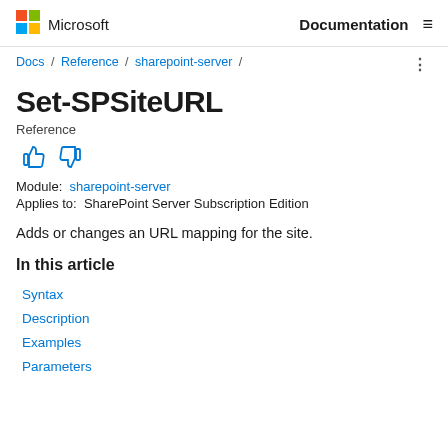Microsoft  Documentation
Docs / Reference / sharepoint-server /
Set-SPSiteURL
Reference
Module:  sharepoint-server
Applies to:  SharePoint Server Subscription Edition
Adds or changes an URL mapping for the site.
In this article
Syntax
Description
Examples
Parameters